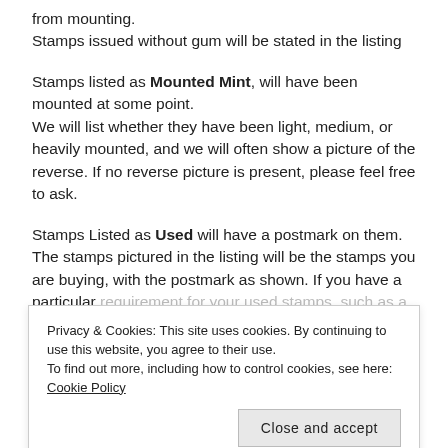from mounting.
Stamps issued without gum will be stated in the listing
Stamps listed as Mounted Mint, will have been mounted at some point.
We will list whether they have been light, medium, or heavily mounted, and we will often show a picture of the reverse. If no reverse picture is present, please feel free to ask.
Stamps Listed as Used will have a postmark on them.
The stamps pictured in the listing will be the stamps you are buying, with the postmark as shown. If you have a particular requirement for your used stamps, such as a particular
Privacy & Cookies: This site uses cookies. By continuing to use this website, you agree to their use.
To find out more, including how to control cookies, see here: Cookie Policy
stamps, which are not in very good condition. The quality of